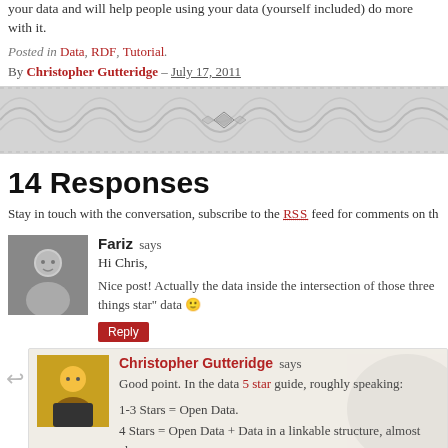your data and will help people using your data (yourself included) do more with it.
Posted in Data, RDF, Tutorial.
By Christopher Gutteridge – July 17, 2011
[Figure (illustration): Decorative horizontal divider banner with ornamental diamond/floral pattern on gray background]
14 Responses
Stay in touch with the conversation, subscribe to the RSS feed for comments on th
Fariz says
Hi Chris,
Nice post! Actually the data inside the intersection of those three things star" data 🙂
Christopher Gutteridge says
Good point. In the data 5 star guide, roughly speaking:
1-3 Stars = Open Data.
4 Stars = Open Data + Data in a linkable structure, almost alway
5 Stars = Linked + Open Data, almost always RDF.